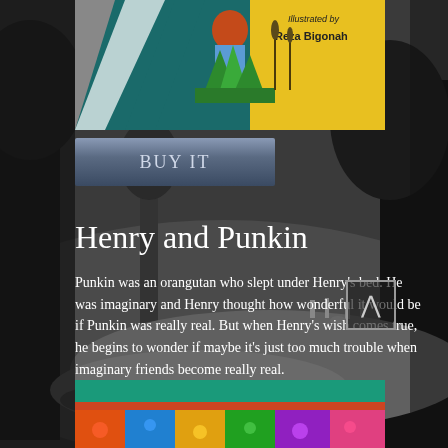[Figure (photo): Top portion of a children's book cover with illustrated characters and the text 'Illustrated by Reza Bigonah', showing colorful artwork with a girl, plants, and a yellow background]
BUY IT
Henry and Punkin
Punkin was an orangutan who slept under Henry's bed. He was imaginary and Henry thought how wonderful it would be if Punkin was really real. But when Henry's wish comes true, he begins to wonder if maybe it's just too much trouble when imaginary friends become really real.
[Figure (photo): Bottom portion of another children's book cover showing colorful abstract or illustrated artwork with teal/green and multicolor sections]